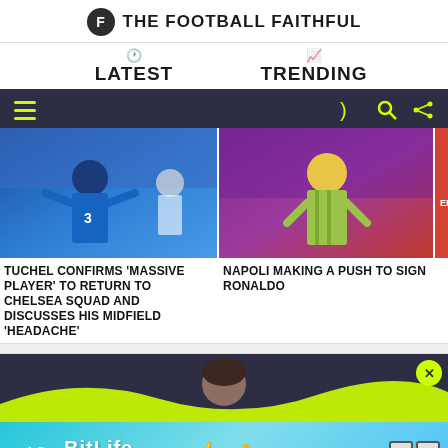THE FOOTBALL FAITHFUL
LATEST
TRENDING
[Figure (screenshot): Football player celebrating in Chelsea blue kit]
TUCHEL CONFIRMS 'MASSIVE PLAYER' TO RETURN TO CHELSEA SQUAD AND DISCUSSES HIS MIDFIELD 'HEADACHE'
[Figure (screenshot): Player in yellow/green kit standing on pitch]
NAPOLI MAKING A PUSH TO SIGN RONALDO
[Figure (screenshot): Player in red kit with ELLIOTT 19 on back]
PREMIER L... FIVE THING...
[Figure (screenshot): BitLife advertisement with GOD MODE promotion]